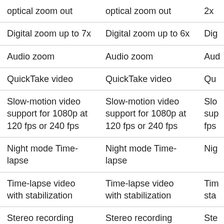| Col1 | Col2 | Col3 |
| --- | --- | --- |
| optical zoom out | optical zoom out | 2x |
| Digital zoom up to 7x | Digital zoom up to 6x | Dig |
| Audio zoom | Audio zoom | Aud |
| QuickTake video | QuickTake video | Qu |
| Slow-motion video support for 1080p at 120 fps or 240 fps | Slow-motion video support for 1080p at 120 fps or 240 fps | Slo sup fps |
| Night mode Time-lapse | Night mode Time-lapse | Nig |
| Time-lapse video with stabilization | Time-lapse video with stabilization | Tim sta |
| Stereo recording | Stereo recording | Ste |
| Front camera | True Depth camera | Tru |